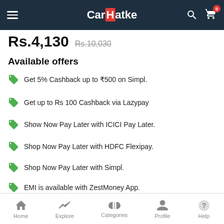CarHatke navigation bar with hamburger menu, search icon, and cart icon (badge: 0)
Rs.4,130  Rs.10,030
Available offers
Get 5% Cashback up to ₹500 on Simpl.
Get up to Rs 100 Cashback via Lazypay
Show Now Pay Later with ICICI Pay Later.
Shop Now Pay Later with HDFC Flexipay.
Shop Now Pay Later with Simpl.
EMI is available with ZestMoney App.
EMI is available with Early Salary App.
Available Options
Home  Explore  Categories  Profile  Help